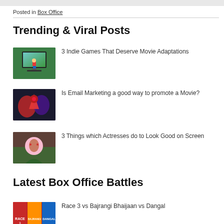Posted in Box Office
Trending & Viral Posts
[Figure (photo): Laptop with Mario character figurine in front of a colorful game background]
3 Indie Games That Deserve Movie Adaptations
[Figure (photo): Power Rangers style robotic characters in dark tones]
Is Email Marketing a good way to promote a Movie?
[Figure (photo): Actress portrait with jewelry, colorful background]
3 Things which Actresses do to Look Good on Screen
Latest Box Office Battles
[Figure (photo): Movie posters collage - Race 3, Bajrangi Bhaijaan, Dangal]
Race 3 vs Bajrangi Bhaijaan vs Dangal